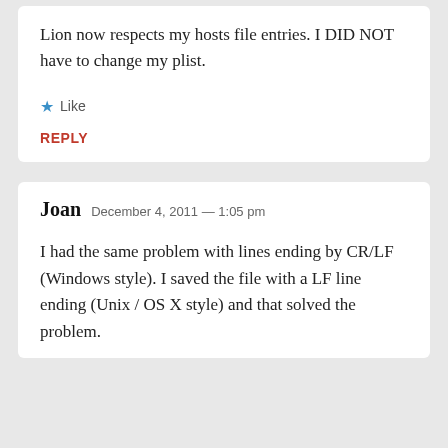Lion now respects my hosts file entries. I DID NOT have to change my plist.
★ Like
REPLY
Joan  December 4, 2011 — 1:05 pm
I had the same problem with lines ending by CR/LF (Windows style). I saved the file with a LF line ending (Unix / OS X style) and that solved the problem.